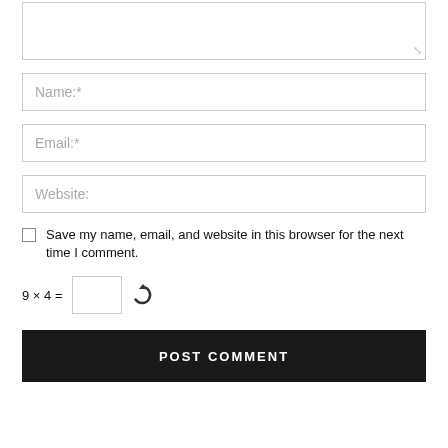[Figure (screenshot): Textarea input box with resize handle at bottom right]
Name:*
Email:*
Website:
Save my name, email, and website in this browser for the next time I comment.
POST COMMENT